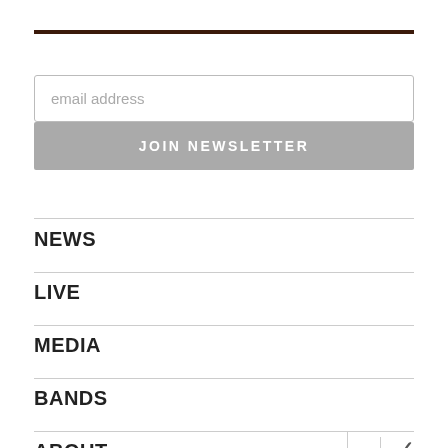[Figure (other): Dark brown horizontal rule / top bar]
email address
JOIN NEWSLETTER
NEWS
LIVE
MEDIA
BANDS
ABOUT